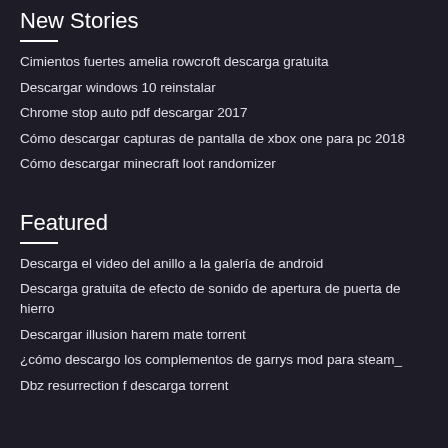New Stories
Cimientos fuertes amelia rowcroft descarga gratuita
Descargar windows 10 reinstalar
Chrome stop auto pdf descargar 2017
Cómo descargar capturas de pantalla de xbox one para pc 2018
Cómo descargar minecraft loot randomizer
Featured
Descarga el video del anillo a la galería de android
Descarga gratuita de efecto de sonido de apertura de puerta de hierro
Descargar illusion harem mate torrent
¿cómo descargo los complementos de garrys mod para steam_
Dbz resurrection f descarga torrent